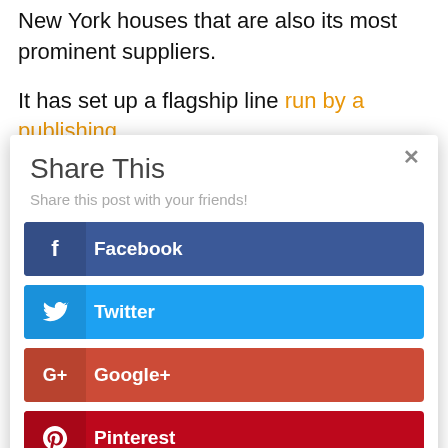New York houses that are also its most prominent suppliers.
It has set up a flagship line run by a publishing
[Figure (screenshot): A 'Share This' modal dialog overlay with social sharing buttons for Facebook, Twitter, Google+, and Pinterest. Includes a close (×) button, title 'Share This', subtitle 'Share this post with your friends!', and four colored share buttons.]